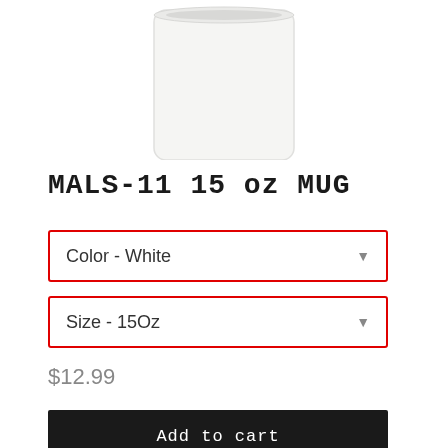[Figure (photo): White ceramic mug, bottom portion visible against white background]
MALS-11 15 oz MUG
Color - White
Size - 15Oz
$12.99
Add to cart